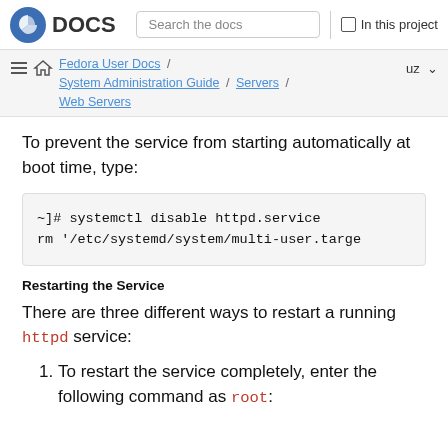DOCS | Search the docs | In this project
Fedora User Docs / System Administration Guide / Servers / Web Servers | uz
To prevent the service from starting automatically at boot time, type:
[Figure (screenshot): Code block showing: ~]# systemctl disable httpd.service
rm '/etc/systemd/system/multi-user.targe]
Restarting the Service
There are three different ways to restart a running httpd service:
To restart the service completely, enter the following command as root: